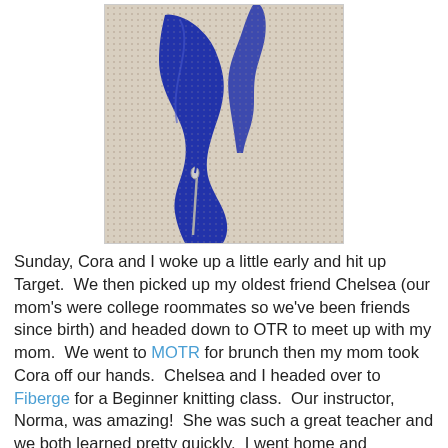[Figure (photo): Close-up photo of blue needlepoint/cross-stitch embroidery on white canvas mesh, showing a needle and blue yarn/thread forming a pattern]
Sunday, Cora and I woke up a little early and hit up Target.  We then picked up my oldest friend Chelsea (our mom's were college roommates so we've been friends since birth) and headed down to OTR to meet up with my mom.  We went to MOTR for brunch then my mom took Cora off our hands.  Chelsea and I headed over to Fiberge for a Beginner knitting class.  Our instructor, Norma, was amazing!  She was such a great teacher and we both learned pretty quickly.  I went home and practiced for like two hours while Cora napped.  It was so fun getting the catch up with Chelsea and learning a new skill.  We're both addicted to knitting and are dreaming up all the cool things we can make.